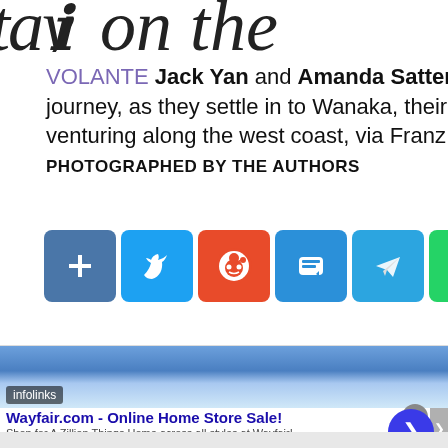[Figure (other): Partial cursive/script title text visible at top of page, cropped]
VOLANTE Jack Yan and Amanda Sattert journey, as they settle in to Wanaka, their b venturing along the west coast, via Franz PHOTOGRAPHED BY THE AUTHORS
[Figure (infographic): Row of social media share buttons: Share, Twitter, Reddit, Mastodon, Telegram, WhatsApp, WeChat, Email, Link, Facebook, VK]
[Figure (screenshot): Infolinks advertisement banner for Wayfair.com - Online Home Store Sale! with sky background, text: Shop for A Zillion Things Home across all styles at Wayfair! www.wayfair.com]